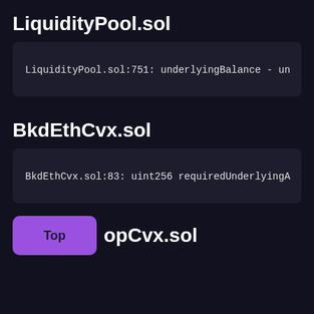LiquidityPool.sol
LiquidityPool.sol:751: underlyingBalance - un
BkdEthCvx.sol
BkdEthCvx.sol:83: uint256 requiredUnderlyingA
opCvx.sol
Top